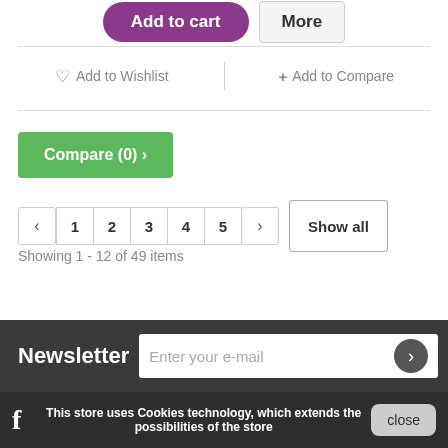[Figure (screenshot): Add to cart and More buttons at top]
Add to Wishlist
+ Add to Compare
Compare (0) ›
‹ 1 2 3 4 5 › Show all
Showing 1 - 12 of 49 items
Newsletter
Enter your e-mail
This store uses Cookies technology, which extends the possibilities of the store